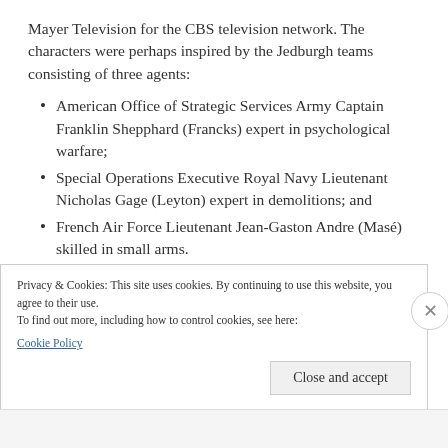Mayer Television for the CBS television network. The characters were perhaps inspired by the Jedburgh teams consisting of three agents:
American Office of Strategic Services Army Captain Franklin Shepphard (Francks) expert in psychological warfare;
Special Operations Executive Royal Navy Lieutenant Nicholas Gage (Leyton) expert in demolitions; and
French Air Force Lieutenant Jean-Gaston Andre (Masé) skilled in small arms.
Privacy & Cookies: This site uses cookies. By continuing to use this website, you agree to their use.
To find out more, including how to control cookies, see here:
Cookie Policy
Close and accept